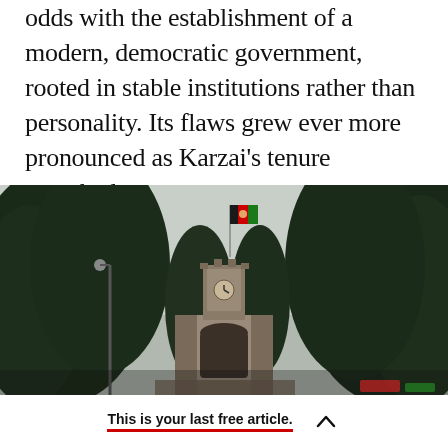odds with the establishment of a modern, democratic government, rooted in stable institutions rather than personality. Its flaws grew ever more pronounced as Karzai's tenure stretched on.
[Figure (photo): Photograph of an arched gate or entrance with a clock tower behind it, flanked by large dark conifer trees. An Afghan flag (black, red, and green with emblem) flies atop the tower. The sky is overcast and grey. This appears to be the entrance to the Presidential Palace (Arg) in Kabul, Afghanistan.]
This is your last free article.